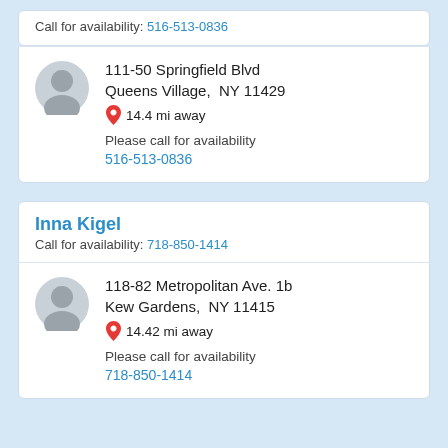Call for availability: 516-513-0836
111-50 Springfield Blvd
Queens Village,  NY 11429
14.4 mi away
Please call for availability
516-513-0836
Inna Kigel
Call for availability: 718-850-1414
118-82 Metropolitan Ave. 1b
Kew Gardens,  NY 11415
14.42 mi away
Please call for availability
718-850-1414